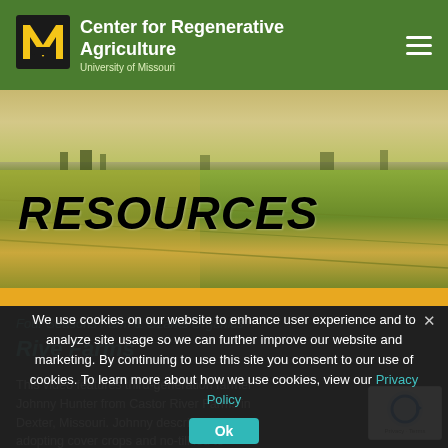Center for Regenerative Agriculture — University of Missouri
[Figure (photo): Aerial view of a green agricultural field under a warm golden sky with the text RESOURCES overlaid in bold black italic font]
RESOURCES
We use cookies on our website to enhance user experience and to analyze site usage so we can further improve our website and marketing. By continuing to use this site you consent to our use of cookies. To learn more about how we use cookies, view our Privacy Policy
Five Farms
This video features third-generation farmer Johnny Hunter from Castor River Farms in Dexter, Missouri. Johnny describes how adopting cover crops and no-till led to